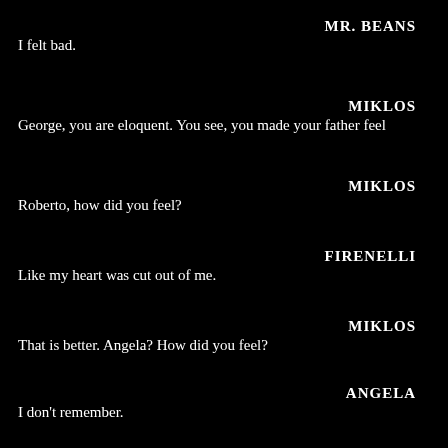MR. BEANS
I felt bad.
MIKLOS
George, you are eloquent. You see, you made your father feel
MIKLOS
Roberto, how did you feel?
FIRENELLI
Like my heart was cut out of me.
MIKLOS
That is better. Angela? How did you feel?
ANGELA
I don't remember.
MIKLOS
Come, tell us.
ANGELA
I don't remember. I was only nine.